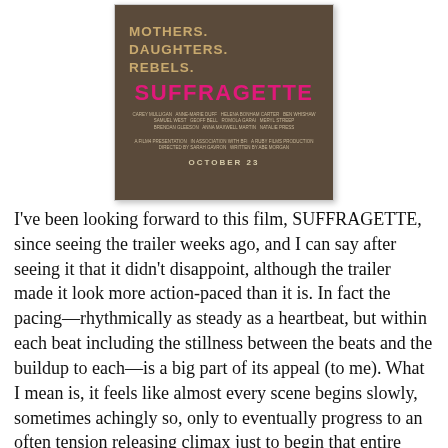[Figure (photo): Movie poster for SUFFRAGETTE showing a woman in period clothing with text 'MOTHERS. DAUGHTERS. REBELS.' in gold/tan lettering above the pink title 'SUFFRAGETTE', credits below, and 'OCTOBER 23' release date at the bottom.]
I've been looking forward to this film, SUFFRAGETTE, since seeing the trailer weeks ago, and I can say after seeing it that it didn't disappoint, although the trailer made it look more action-paced than it is. In fact the pacing—rhythmically as steady as a heartbeat, but within each beat including the stillness between the beats and the buildup to each—is a big part of its appeal (to me). What I mean is, it feels like almost every scene begins slowly, sometimes achingly so, only to eventually progress to an often tension releasing climax just to begin that entire process again.
I don't want to generalize and say that it comes closer to a feminine or female sense of timing and pace than the usual male dominated film, but that's the way it seemed to me.